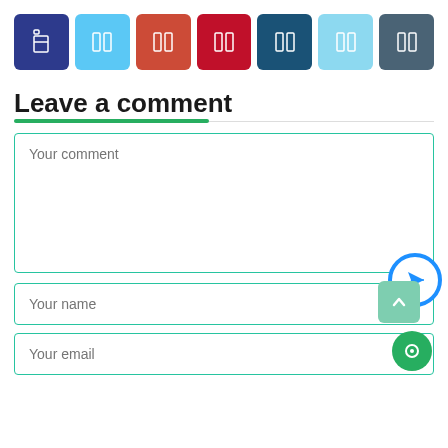[Figure (infographic): Row of 7 social media share buttons in colored square icons: dark blue (Facebook), light blue (Twitter), orange-red (Google+), dark red (Pinterest), dark teal (LinkedIn), light blue (another), dark slate (another)]
Leave a comment
[Figure (infographic): Comment form with three fields: 'Your comment' textarea, 'Your name' input, 'Your email' input. A blue circular send button overlays the name field. A teal scroll-to-top button and green chat bubble appear bottom right.]